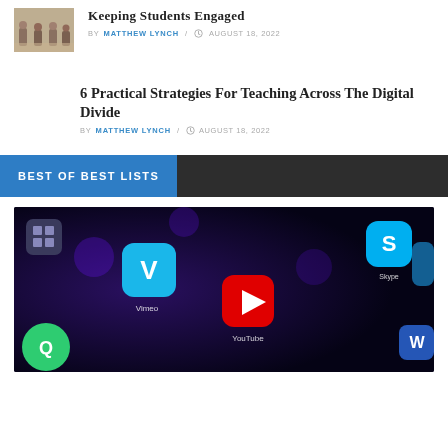[Figure (photo): Thumbnail of students in a classroom]
Keeping Students Engaged
BY MATTHEW LYNCH / AUGUST 18, 2022
6 Practical Strategies For Teaching Across The Digital Divide
BY MATTHEW LYNCH / AUGUST 18, 2022
BEST OF BEST LISTS
[Figure (photo): Close-up photo of smartphone screen showing various app icons including Vimeo and YouTube]